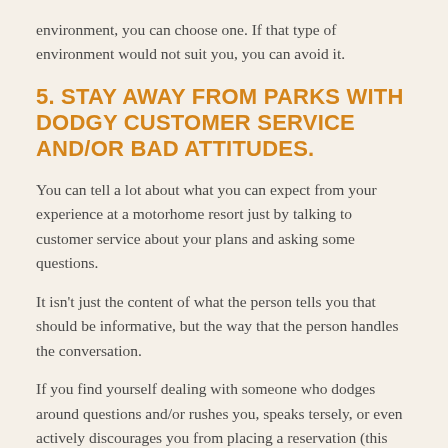environment, you can choose one. If that type of environment would not suit you, you can avoid it.
5. STAY AWAY FROM PARKS WITH DODGY CUSTOMER SERVICE AND/OR BAD ATTITUDES.
You can tell a lot about what you can expect from your experience at a motorhome resort just by talking to customer service about your plans and asking some questions.
It isn't just the content of what the person tells you that should be informative, but the way that the person handles the conversation.
If you find yourself dealing with someone who dodges around questions and/or rushes you, speaks tersely, or even actively discourages you from placing a reservation (this can happen more often than you might think if management